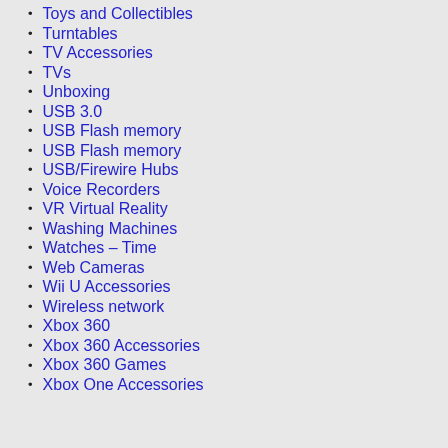Toys and Collectibles
Turntables
TV Accessories
TVs
Unboxing
USB 3.0
USB Flash memory
USB Flash memory
USB/Firewire Hubs
Voice Recorders
VR Virtual Reality
Washing Machines
Watches – Time
Web Cameras
Wii U Accessories
Wireless network
Xbox 360
Xbox 360 Accessories
Xbox 360 Games
Xbox One Accessories